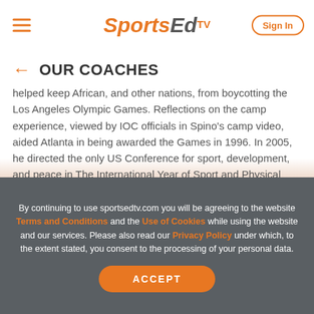SportsEdTV — Sign In
OUR COACHES
helped keep African, and other nations, from boycotting the Los Angeles Olympic Games. Reflections on the camp experience, viewed by IOC officials in Spino's camp video, aided Atlanta in being awarded the Games in 1996. In 2005, he directed the only US Conference for sport, development, and peace in The International Year of Sport and Physical Education (IYSPE) under UN Secretary-General Kofi Annan.
By continuing to use sportsedtv.com you will be agreeing to the website Terms and Conditions and the Use of Cookies while using the website and our services. Please also read our Privacy Policy under which, to the extent stated, you consent to the processing of your personal data.